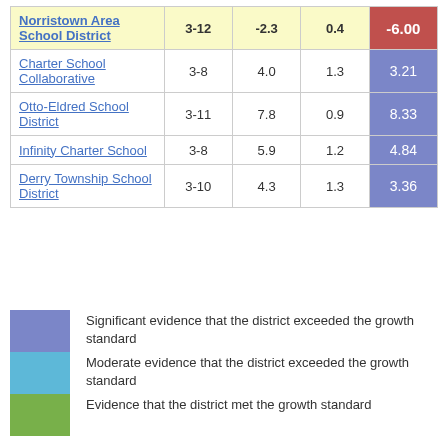| School/District | Grades | Col3 | Col4 | Score |
| --- | --- | --- | --- | --- |
| Norristown Area School District | 3-12 | -2.3 | 0.4 | -6.00 |
| Charter School Collaborative | 3-8 | 4.0 | 1.3 | 3.21 |
| Otto-Eldred School District | 3-11 | 7.8 | 0.9 | 8.33 |
| Infinity Charter School | 3-8 | 5.9 | 1.2 | 4.84 |
| Derry Township School District | 3-10 | 4.3 | 1.3 | 3.36 |
Significant evidence that the district exceeded the growth standard
Moderate evidence that the district exceeded the growth standard
Evidence that the district met the growth standard